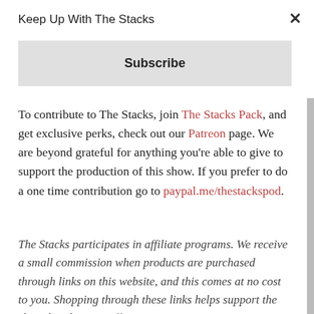Keep Up With The Stacks
Subscribe
To contribute to The Stacks, join The Stacks Pack, and get exclusive perks, check out our Patreon page. We are beyond grateful for anything you're able to give to support the production of this show. If you prefer to do a one time contribution go to paypal.me/thestackspod.
The Stacks participates in affiliate programs. We receive a small commission when products are purchased through links on this website, and this comes at no cost to you. Shopping through these links helps support the show, but does not effect my